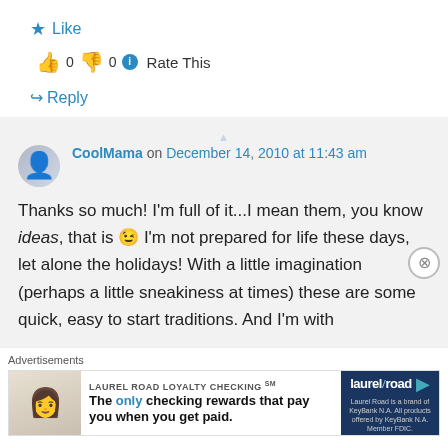★ Like
👍 0 👎 0 ℹ Rate This
↪ Reply
CoolMama on December 14, 2010 at 11:43 am
Thanks so much! I'm full of it...I mean them, you know ideas, that is 😉 I'm not prepared for life these days, let alone the holidays! With a little imagination (perhaps a little sneakiness at times) these are some quick, easy to start traditions. And I'm with
Advertisements
[Figure (other): Laurel Road Loyalty Checking advertisement banner showing a woman and the text: LAUREL ROAD LOYALTY CHECKING SM - The only checking rewards that pay you when you get paid.]